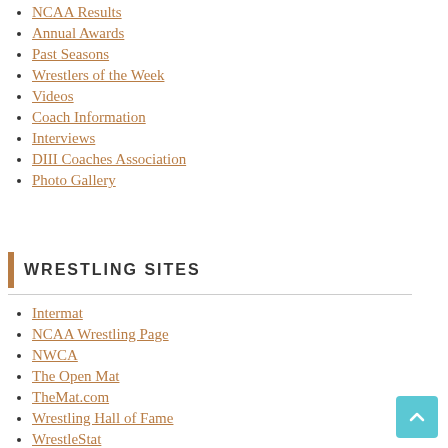NCAA Results
Annual Awards
Past Seasons
Wrestlers of the Week
Videos
Coach Information
Interviews
DIII Coaches Association
Photo Gallery
WRESTLING SITES
Intermat
NCAA Wrestling Page
NWCA
The Open Mat
TheMat.com
Wrestling Hall of Fame
WrestleStat
Mat Talk Online